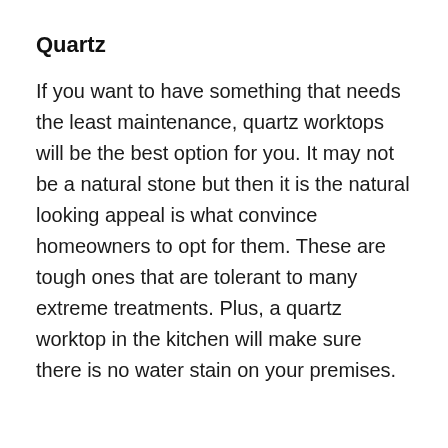Quartz
If you want to have something that needs the least maintenance, quartz worktops will be the best option for you. It may not be a natural stone but then it is the natural looking appeal is what convince homeowners to opt for them. These are tough ones that are tolerant to many extreme treatments. Plus, a quartz worktop in the kitchen will make sure there is no water stain on your premises.